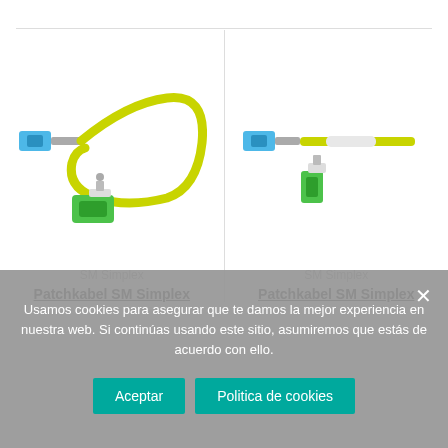[Figure (photo): Fiber optic patch cable SM Simplex with SC/UPC blue connector and SC/APC green connector, yellow cable coiled]
SM Simplex
Patchkabel SM Simplex
[Figure (photo): Fiber optic patch cable SM Simplex with SC/UPC blue connector and LC/APC green connector, yellow cable]
SM Simplex
Patchkabel SM Simplex
Usamos cookies para asegurar que te damos la mejor experiencia en nuestra web. Si continúas usando este sitio, asumiremos que estás de acuerdo con ello.
Aceptar
Politica de cookies